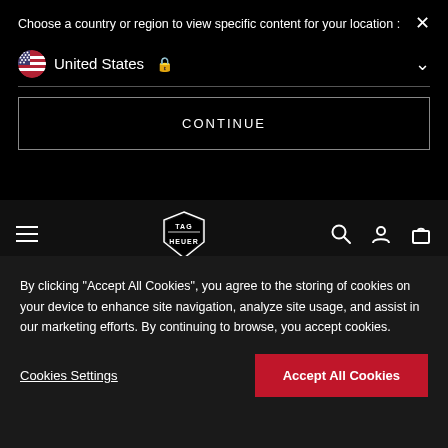Choose a country or region to view specific content for your location :
United States
CONTINUE
[Figure (logo): TAG Heuer shield logo in white]
[Figure (photo): Light gray hero section with red bar element]
By clicking “Accept All Cookies”, you agree to the storing of cookies on your device to enhance site navigation, analyze site usage, and assist in our marketing efforts. By continuing to browse, you accept cookies.
Cookies Settings
Accept All Cookies